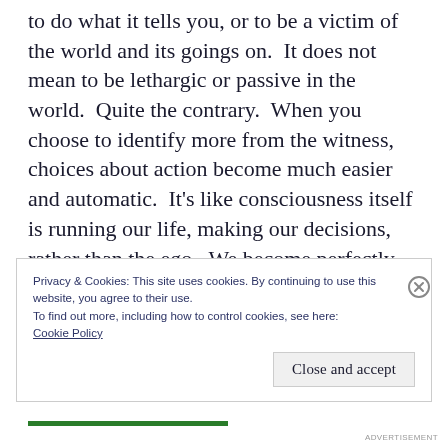to do what it tells you, or to be a victim of the world and its goings on.  It does not mean to be lethargic or passive in the world.  Quite the contrary.  When you choose to identify more from the witness, choices about action become much easier and automatic.  It's like consciousness itself is running our life, making our decisions, rather than the ego.  We become perfectly aligned with what is, in perfect sync with life's evolution.
Privacy & Cookies: This site uses cookies. By continuing to use this website, you agree to their use.
To find out more, including how to control cookies, see here:
Cookie Policy
Close and accept